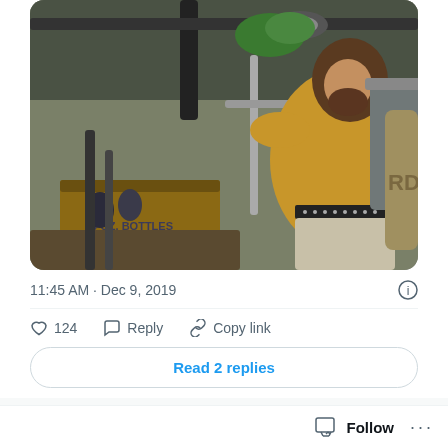[Figure (photo): A man with long hair and a beard wearing a yellow t-shirt and a studded black belt, operating camera equipment among wooden crates and metal barrels. A wooden box labeled '10 OZ. BOTTLES' is visible on the left.]
11:45 AM · Dec 9, 2019
124 · Reply · Copy link
Read 2 replies
Darren Rovell
Follow